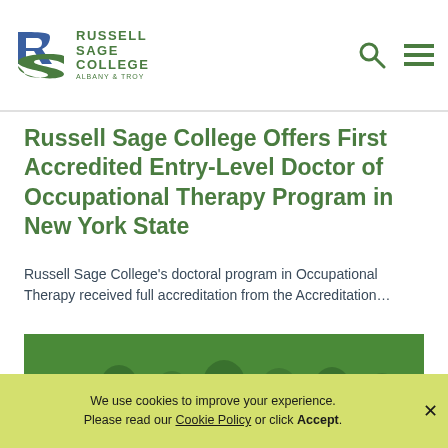Russell Sage College Albany & Troy
Russell Sage College Offers First Accredited Entry-Level Doctor of Occupational Therapy Program in New York State
Russell Sage College's doctoral program in Occupational Therapy received full accreditation from the Accreditation...
[Figure (photo): Group photo of smiling students with green overlay and Russell Sage College logo]
We use cookies to improve your experience. Please read our Cookie Policy or click Accept.